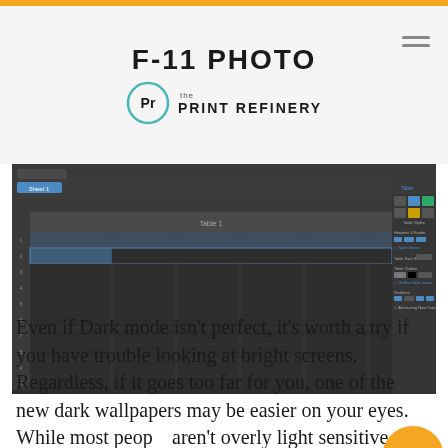F-11 PHOTO the PRINT REFINERY
[Figure (screenshot): Screenshot of Apple Numbers spreadsheet in dark mode showing table formatting options panel on the right side]
Even if Dark mode isn't perfect, it's worth a try if you have trouble looking at bright screens. Regardless, if it goes too far for you, one of the new dark wallpapers may be easier on your eyes. While most people aren't overly light sensitive, a non-trivial